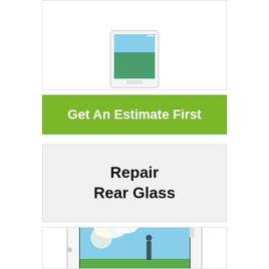[Figure (photo): White tablet device shown from front, partially cropped at top of image]
Get An Estimate First
Repair
Rear Glass
[Figure (photo): White tablet device (landscape orientation) showing a scenic wallpaper with a person, clouds and greenery on screen]